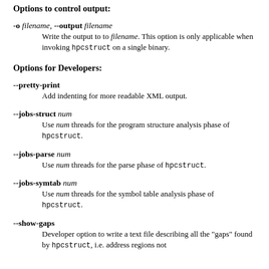Options to control output:
-o filename, --output filename
  Write the output to to filename. This option is only applicable when invoking hpcstruct on a single binary.
Options for Developers:
--pretty-print
  Add indenting for more readable XML output.
--jobs-struct num
  Use num threads for the program structure analysis phase of hpcstruct.
--jobs-parse num
  Use num threads for the parse phase of hpcstruct.
--jobs-symtab num
  Use num threads for the symbol table analysis phase of hpcstruct.
--show-gaps
  Developer option to write a text file describing all the "gaps" found by hpcstruct, i.e. address regions not...